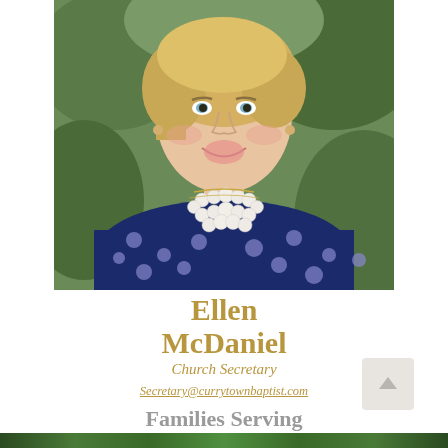[Figure (photo): Portrait photo of Ellen McDaniel, a smiling blonde woman wearing a navy blue polka dot top and pearl necklace, photographed outdoors with green foliage background.]
Ellen McDaniel
Church Secretary
Secretary@currytownbaptist.com
Families Serving Together